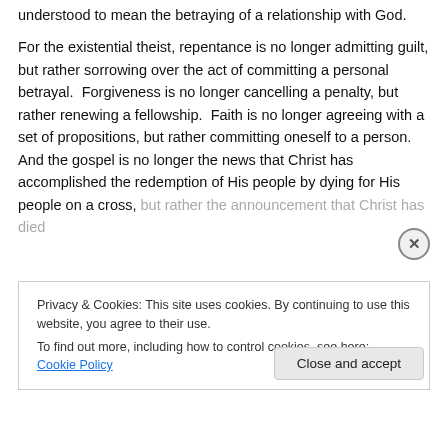understood to mean the betraying of a relationship with God.
For the existential theist, repentance is no longer admitting guilt, but rather sorrowing over the act of committing a personal betrayal.  Forgiveness is no longer cancelling a penalty, but rather renewing a fellowship.  Faith is no longer agreeing with a set of propositions, but rather committing oneself to a person.  And the gospel is no longer the news that Christ has accomplished the redemption of His people by dying for His people on a cross, but rather the announcement that Christ has died
Privacy & Cookies: This site uses cookies. By continuing to use this website, you agree to their use.
To find out more, including how to control cookies, see here: Cookie Policy
Close and accept